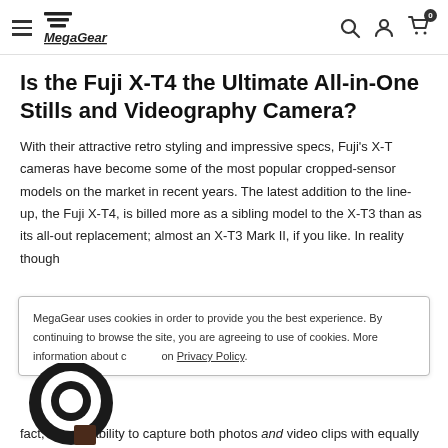MegaGear navigation bar with hamburger menu, logo, search, account and cart icons
Is the Fuji X-T4 the Ultimate All-in-One Stills and Videography Camera?
With their attractive retro styling and impressive specs, Fuji's X-T cameras have become some of the most popular cropped-sensor models on the market in recent years. The latest addition to the line-up, the Fuji X-T4, is billed more as a sibling model to the X-T3 than as its all-out replacement; almost an X-T3 Mark II, if you like. In reality though
MegaGear uses cookies in order to provide you the best experience. By continuing to browse the site, you are agreeing to use of cookies. More information about cookies on Privacy Policy.
[Figure (logo): Chat or messaging app circular icon in dark color]
fact, with its ability to capture both photos and video clips with equally